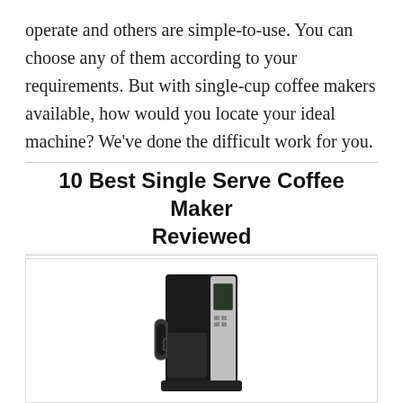operate and others are simple-to-use. You can choose any of them according to your requirements. But with single-cup coffee makers available, how would you locate your ideal machine? We've done the difficult work for you.
10 Best Single Serve Coffee Maker Reviewed
[Figure (photo): Product image of a single serve coffee maker, black and stainless steel, with a numbered badge '1' in orange in the top-left corner]